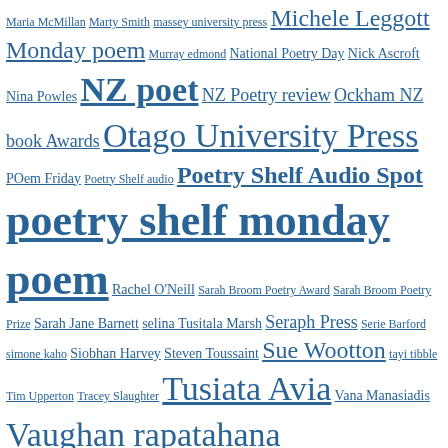Maria McMillan Marty Smith massey university press Michele Leggott Monday poem Murray edmond National Poetry Day Nick Ascroft Nina Powles NZ poet NZ Poetry review Ockham NZ book Awards Otago University Press POem Friday Poetry Shelf audio Poetry Shelf Audio Spot poetry shelf monday poem Rachel O'Neill Sarah Broom Poetry Award Sarah Broom Poetry Prize Sarah Jane Barnett selina Tusitala Marsh Seraph Press Serie Barford simone kaho Siobhan Harvey Steven Toussaint Sue Wootton tayi tibble Tim Upperton Tracey Slaughter Tusiata Avia Vana Manasiadis Vaughan rapatahana Victoria University Press Vincent O'Sullivan VUP
RECENT COMMENTS
Poetry Shelf celebra… on Poetry Shelf Monday Poem: Chri…
Poetry Shelf celebra… on Poetry Shelf celebrates new bo…